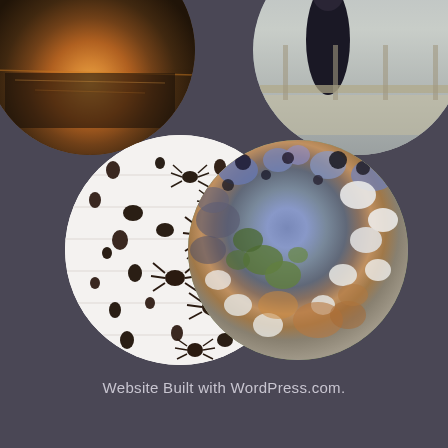[Figure (photo): Circular cropped photo showing a sunset or sunrise over water with warm orange and brown tones, positioned top-left, partially cut off]
[Figure (photo): Circular cropped photo showing a person in dark clothing near a dock or waterway, with light sky and wooden structures, positioned top-right, partially cut off]
[Figure (photo): Circular cropped photo showing multiple small dark spider mites or similar arthropods scattered on a white slatted surface, positioned middle-left]
[Figure (photo): Circular cropped photo showing colorful lichen, moss, and biological growth with white, green, blue-purple, and orange-brown textures, positioned middle-right]
Website Built with WordPress.com.